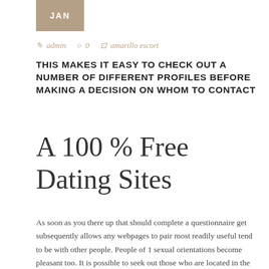JAN
✎ admin  ○ 0  ⊡ amarillo escort
THIS MAKES IT EASY TO CHECK OUT A NUMBER OF DIFFERENT PROFILES BEFORE MAKING A DECISION ON WHOM TO CONTACT
A 100 % Free Dating Sites
As soon as you there up that should complete a questionnaire get subsequently allows any webpages to pair most readily useful tend to be with other people. People of 1 sexual orientations become pleasant too. It is possible to seek out those who are located in the